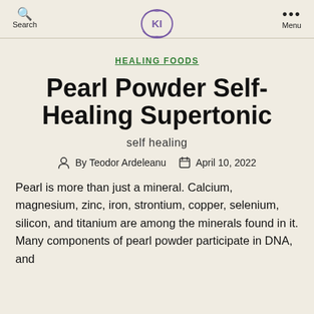Search | [KI logo] | Menu
HEALING FOODS
Pearl Powder Self-Healing Supertonic
self healing
By Teodor Ardeleanu  April 10, 2022
Pearl is more than just a mineral. Calcium, magnesium, zinc, iron, strontium, copper, selenium, silicon, and titanium are among the minerals found in it. Many components of pearl powder participate in DNA, and